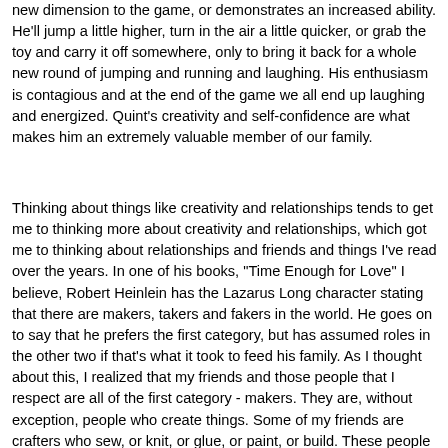new dimension to the game, or demonstrates an increased ability. He'll jump a little higher, turn in the air a little quicker, or grab the toy and carry it off somewhere, only to bring it back for a whole new round of jumping and running and laughing. His enthusiasm is contagious and at the end of the game we all end up laughing and energized. Quint's creativity and self-confidence are what makes him an extremely valuable member of our family.
Thinking about things like creativity and relationships tends to get me to thinking more about creativity and relationships, which got me to thinking about relationships and friends and things I've read over the years. In one of his books, "Time Enough for Love" I believe, Robert Heinlein has the Lazarus Long character stating that there are makers, takers and fakers in the world. He goes on to say that he prefers the first category, but has assumed roles in the other two if that's what it took to feed his family. As I thought about this, I realized that my friends and those people that I respect are all of the first category - makers. They are, without exception, people who create things. Some of my friends are crafters who sew, or knit, or glue, or paint, or build. These people